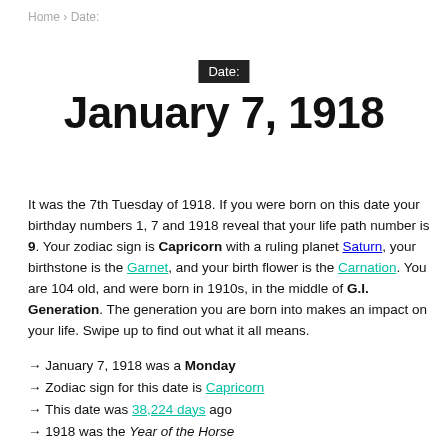Home › Date:
Date:
January 7, 1918
It was the 7th Tuesday of 1918. If you were born on this date your birthday numbers 1, 7 and 1918 reveal that your life path number is 9. Your zodiac sign is Capricorn with a ruling planet Saturn, your birthstone is the Garnet, and your birth flower is the Carnation. You are 104 old, and were born in 1910s, in the middle of G.I. Generation. The generation you are born into makes an impact on your life. Swipe up to find out what it all means.
→ January 7, 1918 was a Monday
→ Zodiac sign for this date is Capricorn
→ This date was 38,224 days ago
→ 1918 was the Year of the Horse
→ In 2023, January 7 is on Sunday